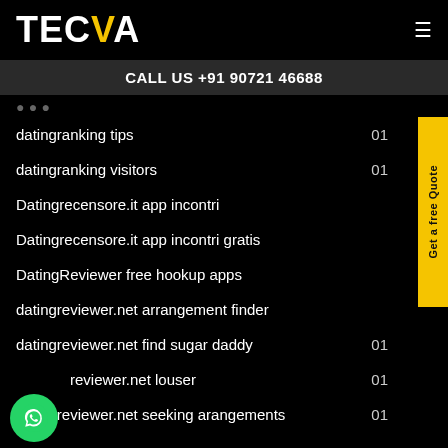TECVA
CALL US +91 90721 46688
datingranking tips   01
datingranking visitors   01
Datingrecensore.it app incontri
Datingrecensore.it app incontri gratis
DatingReviewer free hookup apps
datingreviewer.net arrangement finder
datingreviewer.net find sugar daddy   01
datingreviewer.net louser   01
datingreviewer.net seeking arangements   01